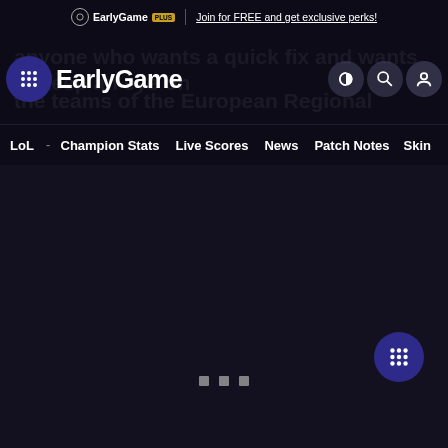EarlyGame PLUS | Join for FREE and get exclusive perks!
anyone who wants a quick fix and wants to keep an eye on the teams of the European Regional Leagues. Now that the group stage part of the main event
[Figure (screenshot): EarlyGame website navigation bar with logo, grid icon, half-circle icon, search icon, and user icon]
LoL - Champion Stats  Live Scores  News  Patch Notes  Skin
[Figure (screenshot): Dark content area with loading dots indicator and floating grid button]
three square dot indicators at bottom center